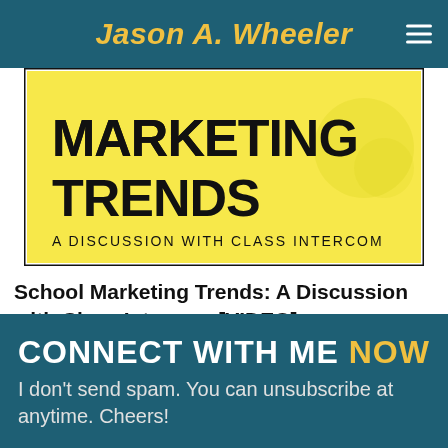Jason A. Wheeler
[Figure (illustration): Marketing Trends: A Discussion with Class Intercom - yellow background promotional image with bold black text]
School Marketing Trends: A Discussion with Class Intercom [VIDEO]
CONNECT WITH ME NOW
I don’t send spam. You can unsubscribe at anytime. Cheers!